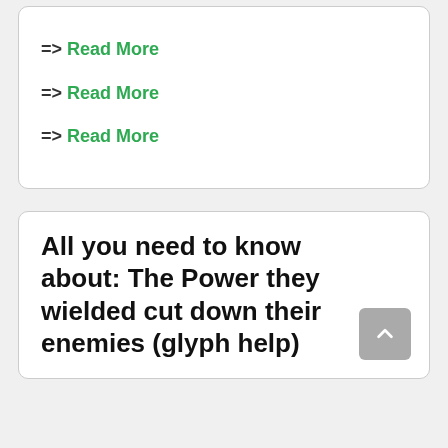=> Read More
=> Read More
=> Read More
All you need to know about: The Power they wielded cut down their enemies (glyph help)